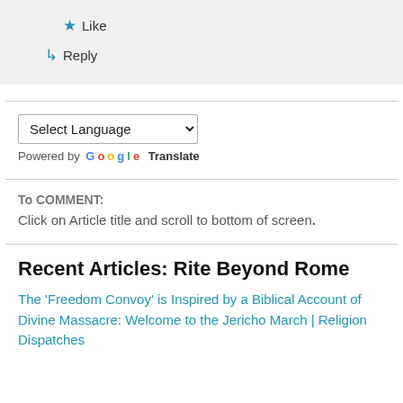★ Like
↳ Reply
Select Language (dropdown)
Powered by Google Translate
To COMMENT: Click on Article title and scroll to bottom of screen.
Recent Articles: Rite Beyond Rome
The 'Freedom Convoy' is Inspired by a Biblical Account of Divine Massacre: Welcome to the Jericho March | Religion Dispatches